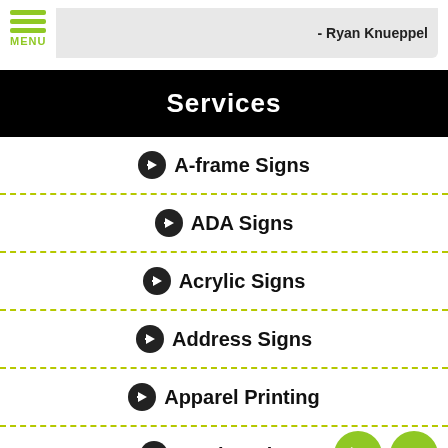MENU - Ryan Knueppel
Services
A-frame Signs
ADA Signs
Acrylic Signs
Address Signs
Apparel Printing
Awning Signs